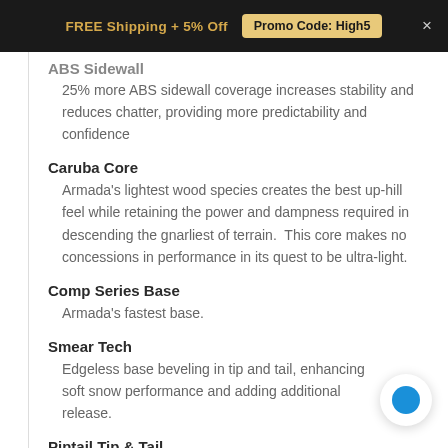FREE Shipping + 5% Off   Promo Code: High5   ×
ABS Sidewall
25% more ABS sidewall coverage increases stability and reduces chatter, providing more predictability and confidence
Caruba Core
Armada's lightest wood species creates the best up-hill feel while retaining the power and dampness required in descending the gnarliest of terrain.  This core makes no concessions in performance in its quest to be ultra-light.
Comp Series Base
Armada's fastest base.
Smear Tech
Edgeless base beveling in tip and tail, enhancing soft snow performance and adding additional release.
Pintail Tip & Tail